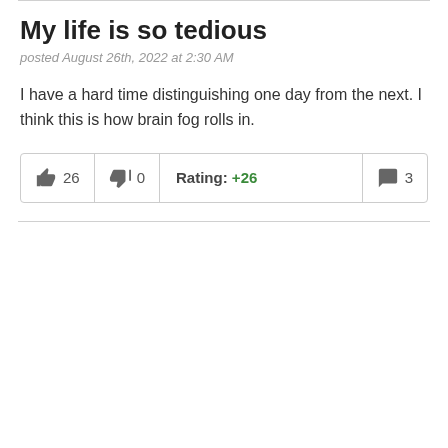My life is so tedious
posted August 26th, 2022 at 2:30 AM
I have a hard time distinguishing one day from the next. I think this is how brain fog rolls in.
| 👍 26 | 👎 0 | Rating: +26 | 💬 3 |
| --- | --- | --- | --- |